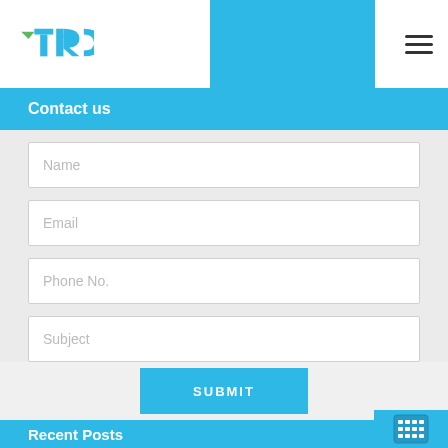[Figure (logo): TRC logo with green checkmark-arrow and blue TRC letters on white header background]
Contact us
Name
Email
Phone No.
Subject
SUBMIT
Recent Posts
Credit Score – Important Indicators of Your